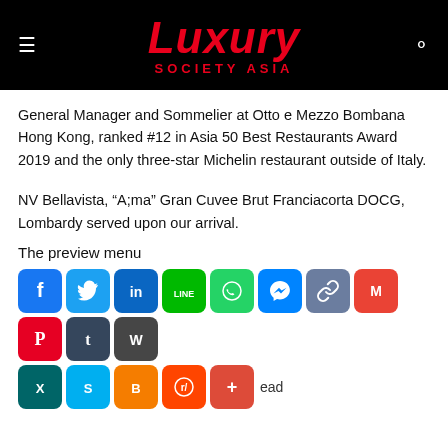Luxury Society Asia
General Manager and Sommelier at Otto e Mezzo Bombana Hong Kong, ranked #12 in Asia 50 Best Restaurants Award 2019 and the only three-star Michelin restaurant outside of Italy.
NV Bellavista, “A;ma” Gran Cuvee Brut Franciacorta DOCG, Lombardy served upon our arrival.
The preview menu
[Figure (other): Social media sharing icons: Facebook, Twitter, LinkedIn, LINE, WhatsApp, Messenger, Copy Link, Gmail, Pinterest, Tumblr, WordPress, XING, Skype, Blogger, Reddit, Google+, and a read more link]